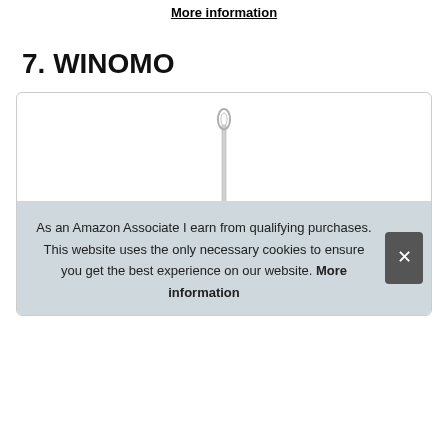More information
7. WINOMO
[Figure (photo): Product image of a WINOMO needle in a white-bordered product card box, with a cookie consent banner overlay at the bottom.]
As an Amazon Associate I earn from qualifying purchases. This website uses the only necessary cookies to ensure you get the best experience on our website. More information